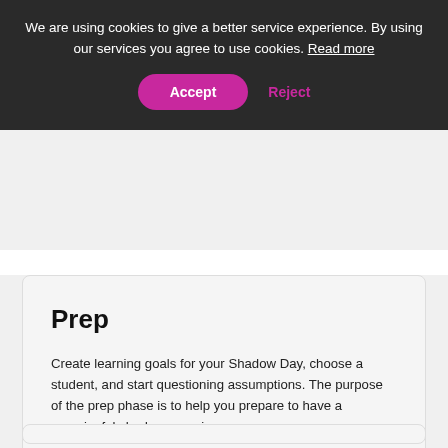We are using cookies to give a better service experience. By using our services you agree to use cookies. Read more
Accept
Reject
Prep
Create learning goals for your Shadow Day, choose a student, and start questioning assumptions. The purpose of the prep phase is to help you prepare to have a meaningful shadow experience.
Read more